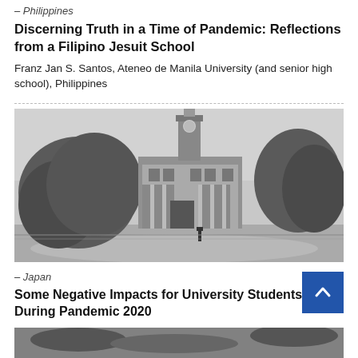– Philippines
Discerning Truth in a Time of Pandemic: Reflections from a Filipino Jesuit School
Franz Jan S. Santos, Ateneo de Manila University (and senior high school), Philippines
[Figure (photo): Black and white photograph of a university building with a clock tower, surrounded by trees, with a person walking in the foreground.]
– Japan
Some Negative Impacts for University Students During Pandemic 2020
Makibi Nakano & Kumiko Kato, PhD candidates, Kyoto and Sophia Universities, Japan
[Figure (photo): Partially visible black and white photo at the bottom of the page.]